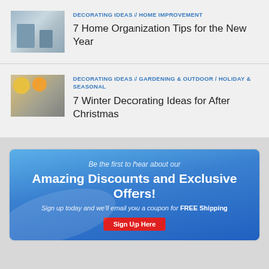DECORATING IDEAS / HOME IMPROVEMENT
7 Home Organization Tips for the New Year
DECORATING IDEAS / GARDENING & OUTDOOR / HOLIDAY & SEASONAL
7 Winter Decorating Ideas for After Christmas
[Figure (infographic): Promotional banner advertisement with blue gradient background. Text reads: 'Be the first to hear about our Amazing Discounts and Exclusive Offers! Sign up today and we'll email you a coupon for FREE Shipping.' with a red Sign Up Here button.]